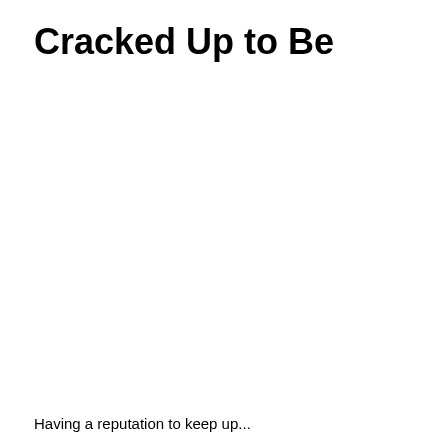Cracked Up to Be
Having a reputation to keep up...